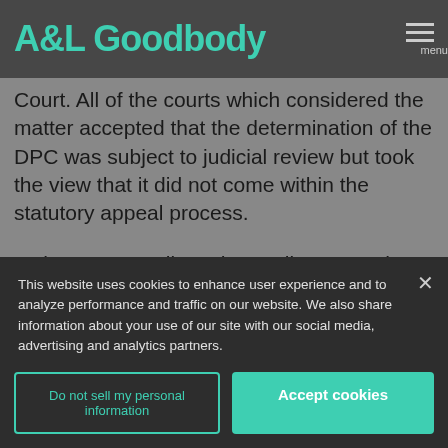A&L Goodbody
Court. All of the courts which considered the matter accepted that the determination of the DPC was subject to judicial review but took the view that it did not come within the statutory appeal process.
In these proceedings the applicant sought leave to appeal to the Supreme Court.
Decision
The Supreme Court granted the applicant leave to appeal.
This website uses cookies to enhance user experience and to analyze performance and traffic on our website. We also share information about your use of our site with our social media, advertising and analytics partners.
Do not sell my personal information
Accept cookies